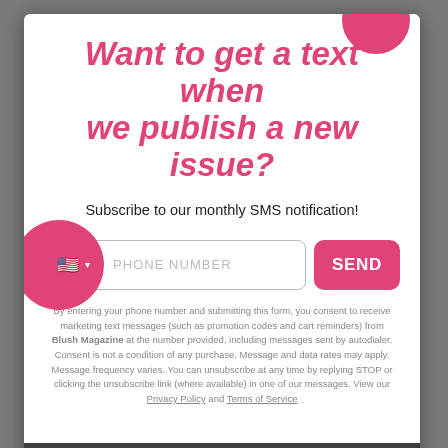Want to get a text when we publish a new issue?
Subscribe to our monthly SMS notification!
[Figure (screenshot): SMS subscription form with phone number input field, flag selector button, and pink SEND button]
By entering your phone number and submitting this form, you consent to receive marketing text messages (such as promotion codes and cart reminders) from Blush Magazine at the number provided, including messages sent by autodialer. Consent is not a condition of any purchase. Message and data rates may apply. Message frequency varies. You can unsubscribe at any time by replying STOP or clicking the unsubscribe link (where available) in one of our messages. View our Privacy Policy and Terms of Service
NO THANKS